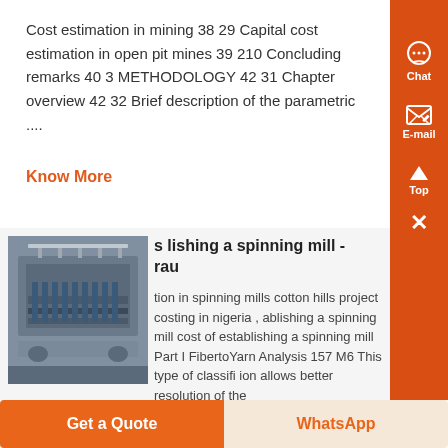Cost estimation in mining 38 29 Capital cost estimation in open pit mines 39 210 Concluding remarks 40 3 METHODOLOGY 42 31 Chapter overview 42 32 Brief description of the parametric ....
Know More
[Figure (photo): Industrial machinery, likely a textile spinning mill machine in a factory setting]
s lishing a spinning mill - rau
tion in spinning mills cotton hills project costing in nigeria , ablishing a spinning mill cost of establishing a spinning mill Part I FibertoYarn Analysis 157 M6 This type of classifi ion allows better resolution of the
Get a Quote
WhatsApp